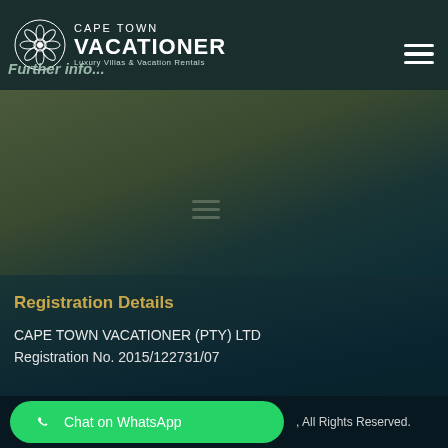VISA AND MASTERCARD.
[Figure (logo): Cape Town Vacationer logo with decorative flower/snowflake emblem in white, text 'CAPE TOWN VACATIONER Luxury Villas & Vacation Rentals' in white on dark teal background]
Further Info...
Registration Details
CAPE TOWN VACATIONER (PTY) LTD
Registration No. 2015/122731/07
Chat on WhatsApp
All Rights Reserved.